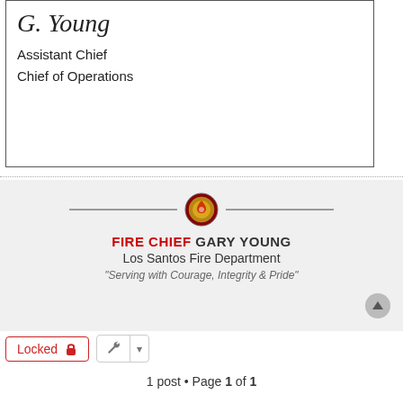[Figure (other): Signature of G. Young in cursive script]
Assistant Chief
Chief of Operations
FIRE CHIEF GARY YOUNG
Los Santos Fire Department
"Serving with Courage, Integrity & Pride"
Locked
1 post • Page 1 of 1